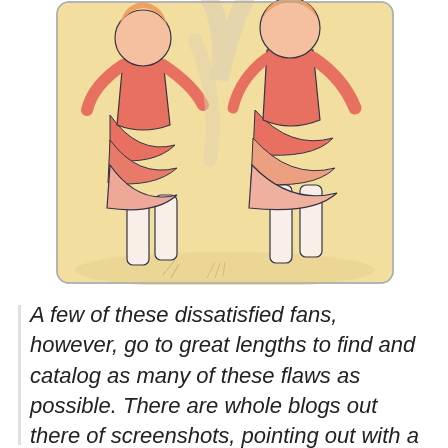[Figure (illustration): Watercolor/sketch illustration showing anime-style characters (likely cheerleaders or dancers) wearing layered pink/salmon ruffled skirts, with white stockings, drawn in a manga art style with warm yellow background tones.]
A few of these dissatisfied fans, however, go to great lengths to find and catalog as many of these flaws as possible. There are whole blogs out there of screenshots, pointing out with a